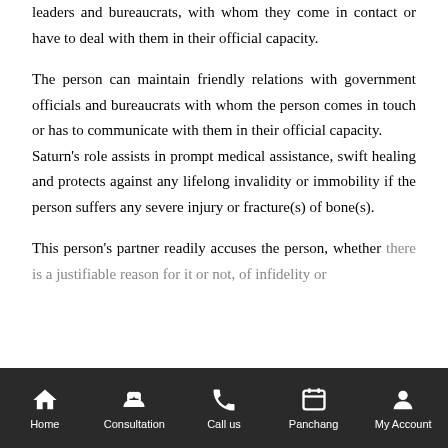leaders and bureaucrats, with whom they come in contact or have to deal with them in their official capacity.
The person can maintain friendly relations with government officials and bureaucrats with whom the person comes in touch or has to communicate with them in their official capacity.
Saturn's role assists in prompt medical assistance, swift healing and protects against any lifelong invalidity or immobility if the person suffers any severe injury or fracture(s) of bone(s).
This person's partner readily accuses the person, whether there is a justifiable reason for it or not, of infidelity or...
Home | Consultation | Call us | Panchang | My Account